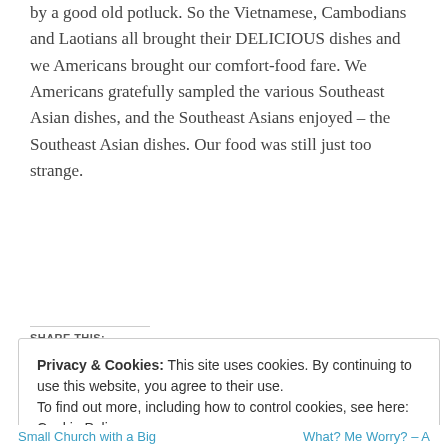by a good old potluck. So the Vietnamese, Cambodians and Laotians all brought their DELICIOUS dishes and we Americans brought our comfort-food fare. We Americans gratefully sampled the various Southeast Asian dishes, and the Southeast Asians enjoyed – the Southeast Asian dishes. Our food was still just too strange.
SHARE THIS:
Twitter
Like
Be the first to like this.
Privacy & Cookies: This site uses cookies. By continuing to use this website, you agree to their use.
To find out more, including how to control cookies, see here: Cookie Policy
Close and accept
Small Church with a Big | What? Me Worry? – A